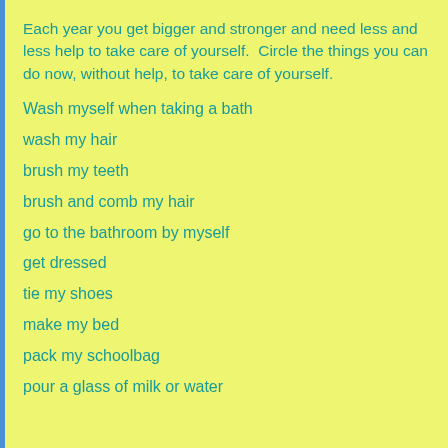Each year you get bigger and stronger and need less and less help to take care of yourself.  Circle the things you can do now, without help, to take care of yourself.
Wash myself when taking a bath
wash my hair
brush my teeth
brush and comb my hair
go to the bathroom by myself
get dressed
tie my shoes
make my bed
pack my schoolbag
pour a glass of milk or water